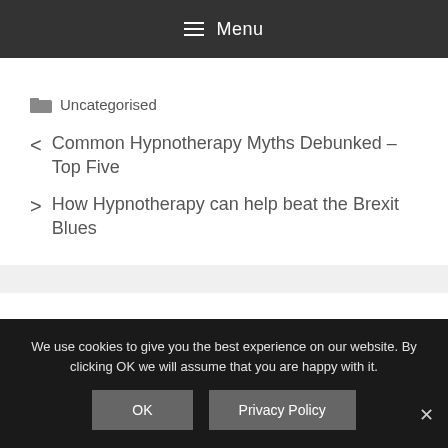Menu
Uncategorised
< Common Hypnotherapy Myths Debunked – Top Five
> How Hypnotherapy can help beat the Brexit Blues
We use cookies to give you the best experience on our website. By clicking OK we will assume that you are happy with it.
OK   Privacy Policy